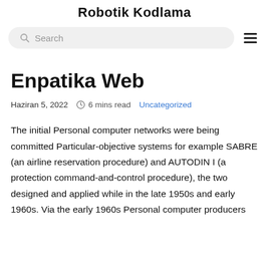Robotik Kodlama
Search
Enpatika Web
Haziran 5, 2022   6 mins read   Uncategorized
The initial Personal computer networks were being committed Particular-objective systems for example SABRE (an airline reservation procedure) and AUTODIN I (a protection command-and-control procedure), the two designed and applied while in the late 1950s and early 1960s. Via the early 1960s Personal computer producers